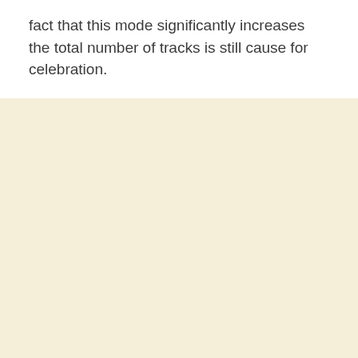fact that this mode significantly increases the total number of tracks is still cause for celebration.